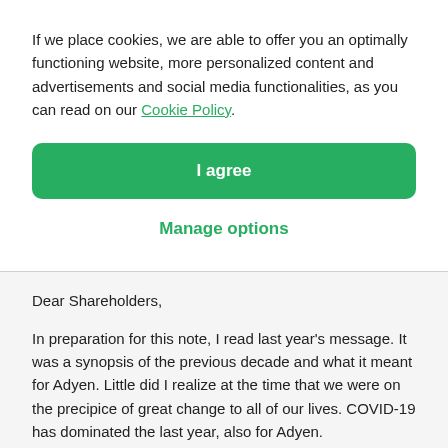If we place cookies, we are able to offer you an optimally functioning website, more personalized content and advertisements and social media functionalities, as you can read on our Cookie Policy.
I agree
Manage options
Dear Shareholders,
In preparation for this note, I read last year's message. It was a synopsis of the previous decade and what it meant for Adyen. Little did I realize at the time that we were on the precipice of great change to all of our lives. COVID-19 has dominated the last year, also for Adyen.